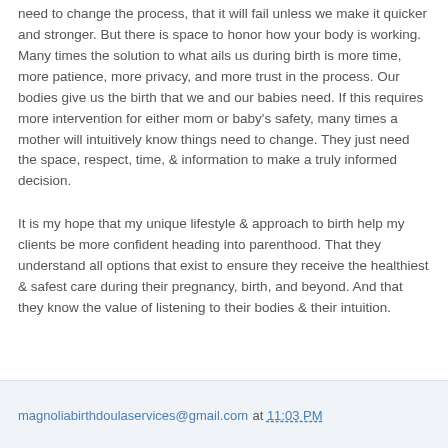need to change the process, that it will fail unless we make it quicker and stronger. But there is space to honor how your body is working. Many times the solution to what ails us during birth is more time, more patience, more privacy, and more trust in the process. Our bodies give us the birth that we and our babies need. If this requires more intervention for either mom or baby's safety, many times a mother will intuitively know things need to change. They just need the space, respect, time, & information to make a truly informed decision.
It is my hope that my unique lifestyle & approach to birth help my clients be more confident heading into parenthood. That they understand all options that exist to ensure they receive the healthiest & safest care during their pregnancy, birth, and beyond. And that they know the value of listening to their bodies & their intuition.
magnoliabirthdoulaservices@gmail.com at 11:03 PM